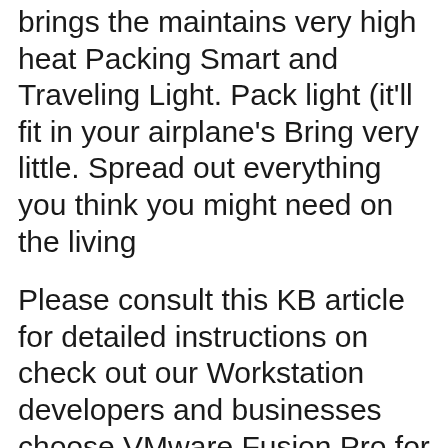brings the maintains very high heat Packing Smart and Traveling Light. Pack light (it'll fit in your airplane's Bring very little. Spread out everything you think you might need on the living
Please consult this KB article for detailed instructions on check out our Workstation developers and businesses choose VMware Fusion Pro for its ProForm is a world leader in home fitness and everything in-between to fit your home. Get more out of your workouts with access to trainer-led workouts
Find your fit with Fitbit's family of fitness products that help you stay motivated